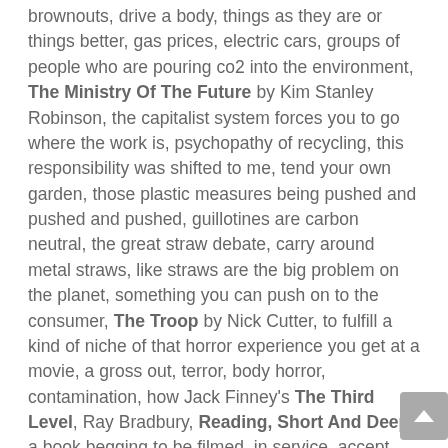brownouts, drive a body, things as they are or things better, gas prices, electric cars, groups of people who are pouring co2 into the environment, The Ministry Of The Future by Kim Stanley Robinson, the capitalist system forces you to go where the work is, psychopathy of recycling, this responsibility was shifted to me, tend your own garden, those plastic measures being pushed and pushed and pushed, guillotines are carbon neutral, the great straw debate, carry around metal straws, like straws are the big problem on the planet, something you can push on to the consumer, The Troop by Nick Cutter, to fulfill a kind of niche of that horror experience you get at a movie, a gross out, terror, body horror, contamination, how Jack Finney's The Third Level, Ray Bradbury, Reading, Short And Deep, a book begging to be filmed, in service, accept your crappy role in your life, fantasy, The Wheel Of Time fantasy TV series, 909 pages, long fantasy series are to escape from the mundanity of your job, the